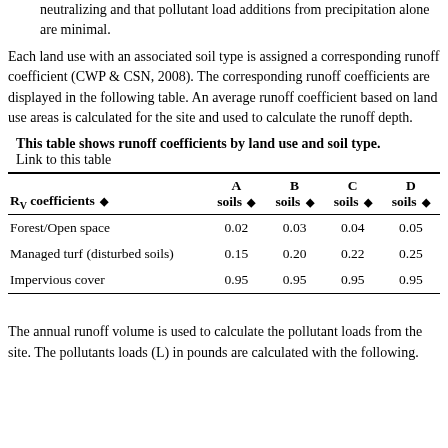neutralizing and that pollutant load additions from precipitation alone are minimal.
Each land use with an associated soil type is assigned a corresponding runoff coefficient (CWP & CSN, 2008). The corresponding runoff coefficients are displayed in the following table. An average runoff coefficient based on land use areas is calculated for the site and used to calculate the runoff depth.
This table shows runoff coefficients by land use and soil type.
Link to this table
| R_V coefficients | A soils | B soils | C soils | D soils |
| --- | --- | --- | --- | --- |
| Forest/Open space | 0.02 | 0.03 | 0.04 | 0.05 |
| Managed turf (disturbed soils) | 0.15 | 0.20 | 0.22 | 0.25 |
| Impervious cover | 0.95 | 0.95 | 0.95 | 0.95 |
The annual runoff volume is used to calculate the pollutant loads from the site. The pollutants loads (L) in pounds are calculated with the following.